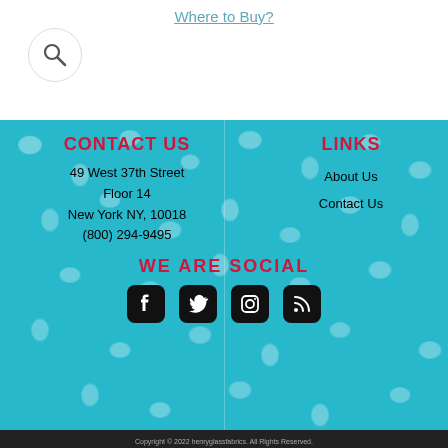Where to Buy?
[Figure (illustration): Search icon (magnifying glass) inside a circular white button]
CONTACT US
49 West 37th Street
Floor 14
New York NY, 10018
(800) 294-9495
LINKS
About Us
Contact Us
WE ARE SOCIAL
[Figure (illustration): Social media icons: Facebook, Twitter, Instagram, RSS feed]
Copyright © 2022 henryglassfabrics. All Rights Reserved.